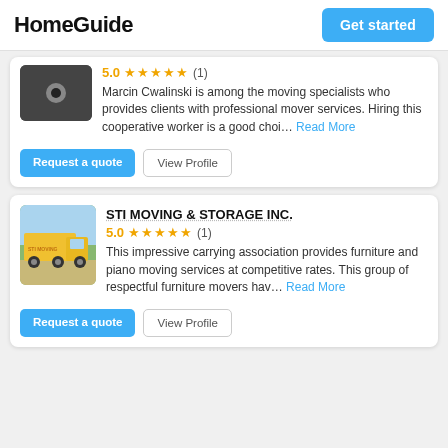HomeGuide
Get started
5.0 ★★★★★ (1)
Marcin Cwalinski is among the moving specialists who provides clients with professional mover services. Hiring this cooperative worker is a good choi... Read More
Request a quote
View Profile
STI MOVING & STORAGE INC.
5.0 ★★★★★ (1)
This impressive carrying association provides furniture and piano moving services at competitive rates. This group of respectful furniture movers hav... Read More
Request a quote
View Profile